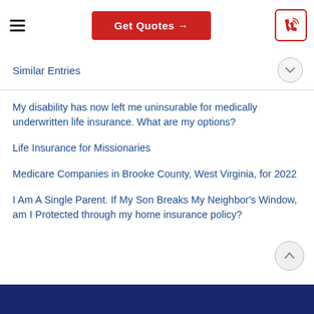Get Quotes →
Similar Entries
My disability has now left me uninsurable for medically underwritten life insurance. What are my options?
Life Insurance for Missionaries
Medicare Companies in Brooke County, West Virginia, for 2022
I Am A Single Parent. If My Son Breaks My Neighbor's Window, am I Protected through my home insurance policy?